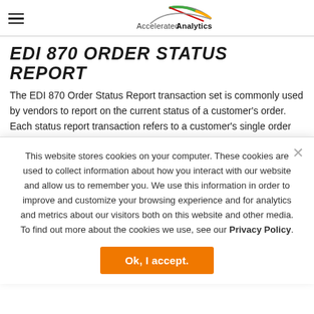Accelerated Analytics
EDI 870 ORDER STATUS REPORT
The EDI 870 Order Status Report transaction set is commonly used by vendors to report on the current status of a customer's order. Each status report transaction refers to a customer's single order but it can involve multiple previously-sent purchase orders. The 870 is replacing what is
This website stores cookies on your computer. These cookies are used to collect information about how you interact with our website and allow us to remember you. We use this information in order to improve and customize your browsing experience and for analytics and metrics about our visitors both on this website and other media. To find out more about the cookies we use, see our Privacy Policy.
Ok, I accept.